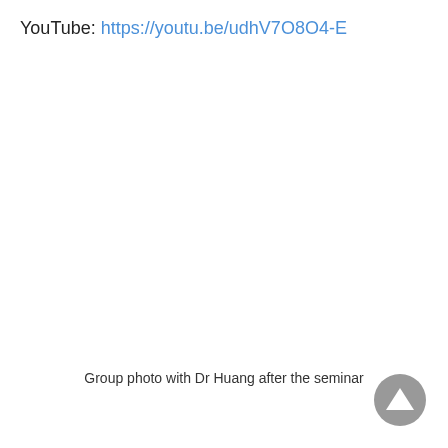YouTube: https://youtu.be/udhV7O8O4-E
Group photo with Dr Huang after the seminar
[Figure (other): Navigation/back-to-top button: a dark gray circle with a white upward-pointing triangle arrow inside it, located at the bottom-right corner of the page.]